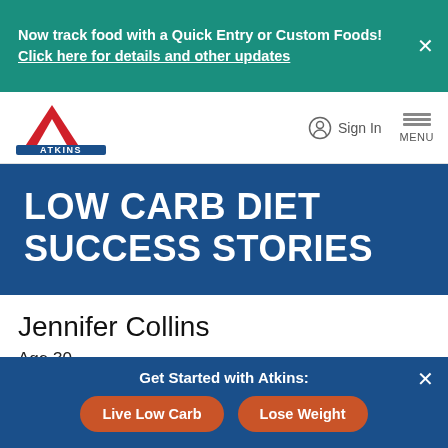Now track food with a Quick Entry or Custom Foods! Click here for details and other updates
[Figure (logo): Atkins logo with red triangle and blue banner]
Sign In
LOW CARB DIET SUCCESS STORIES
Jennifer Collins
Age 30
Get Started with Atkins: Live Low Carb  Lose Weight